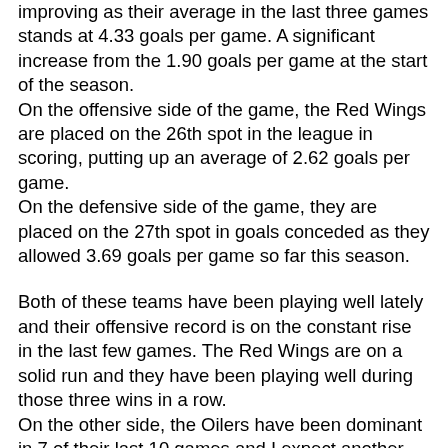improving as their average in the last three games stands at 4.33 goals per game. A significant increase from the 1.90 goals per game at the start of the season. On the offensive side of the game, the Red Wings are placed on the 26th spot in the league in scoring, putting up an average of 2.62 goals per game. On the defensive side of the game, they are placed on the 27th spot in goals conceded as they allowed 3.69 goals per game so far this season.
Both of these teams have been playing well lately and their offensive record is on the constant rise in the last few games. The Red Wings are on a solid run and they have been playing well during those three wins in a row. On the other side, the Oilers have been dominant in 7 of their last 10 games and I expect another solid performance by them. I think that both teams will aim for the win and that there will be more than 6 goals in total as both teams